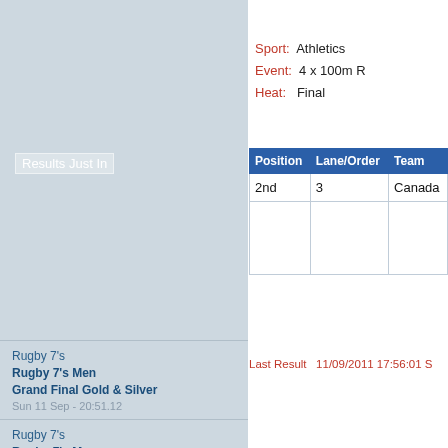Results Just In
Rugby 7's
Rugby 7's Men
Grand Final Gold & Silver
Sun 11 Sep - 20:51.12
Rugby 7's
Rugby 7's Men
Bronze Medal Match
Sun 11 Sep - 20:18.25
Swimming
Men's 4 x 200m Freestyle Relay
Final
Sun 11 Sep - 20:05.12
Rugby 7's
Rugby 7's Men
Grand Final Plate
Sun 11 Sep - 19:56.31
Swimming
Women's 4 x 100m Medley Relay
Final
Sun 11 Sep - 19:46.26
Sport: Athletics
Event: 4 x 100m R
Heat: Final
| Position | Lane/Order | Team |
| --- | --- | --- |
| 2nd | 3 | Canada |
Last Result   11/09/2011 17:56:01 S